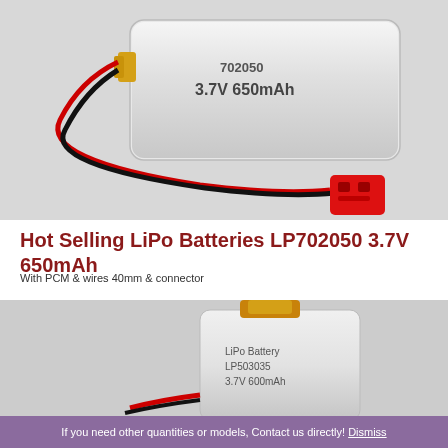[Figure (photo): LiPo battery LP702050 3.7V 650mAh with red/black wires and red JST connector on white/grey background]
Hot Selling LiPo Batteries LP702050 3.7V 650mAh
With PCM & wires 40mm & connector
[Figure (photo): LiPo Battery LP503035 3.7V 600mAh small rectangular silver pouch cell with amber/golden terminal on white background]
If you need other quantities or models, Contact us directly! Dismiss